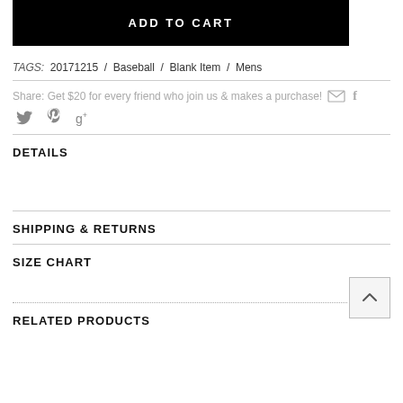ADD TO CART
TAGS: 20171215 / Baseball / Blank Item / Mens
Share: Get $20 for every friend who join us & makes a purchase!
DETAILS
SHIPPING & RETURNS
SIZE CHART
RELATED PRODUCTS